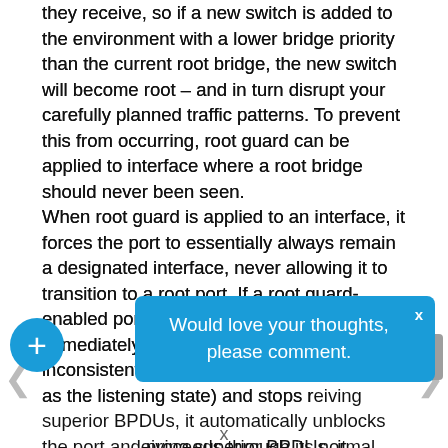they receive, so if a new switch is added to the environment with a lower bridge priority than the current root bridge, the new switch will become root – and in turn disrupt your carefully planned traffic patterns. To prevent this from occurring, root guard can be applied to interface where a root bridge should never been seen. When root guard is applied to an interface, it forces the port to essentially always remain a designated interface, never allowing it to transition to a root port. If a root guard-enabled port received a superior BPDU, it immediately moves the port to a root-inconsistent STP state (essentially the same as the listening state) and stops receiving superior BPDUs, it automatically unblocks the port and proceeds through its normal listening, learning, and eventually forwarding states. No intervention is
[Figure (other): Blue tooltip overlay reading 'Would love your thoughts, please comment.' with a close X button, a blue circular plus button on the left, and a gray scroll-to-top button on the right.]